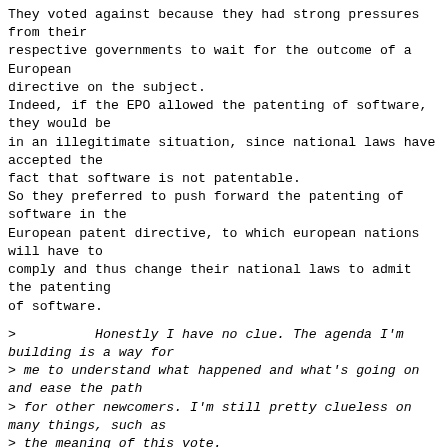They voted against because they had strong pressures from their
respective governments to wait for the outcome of a European
directive on the subject.
Indeed, if the EPO allowed the patenting of software, they would be
in an illegitimate situation, since national laws have accepted the
fact that software is not patentable.
So they preferred to push forward the patenting of software in the
European patent directive, to which european nations will have to
comply and thus change their national laws to admit the patenting
of software.
>          Honestly I'm building is a way for
> me to understand what happened and what's going on and ease the path
> for other newcomers. I'm still pretty clueless on many things, such as
> the meaning of this vote.
>
>          Another thing that is running in the back of my mind is the fact
> that, at the beginning of the year the patent office tried to push for a